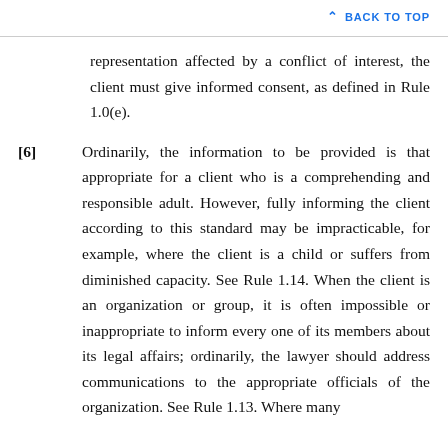BACK TO TOP
representation affected by a conflict of interest, the client must give informed consent, as defined in Rule 1.0(e).
[6] Ordinarily, the information to be provided is that appropriate for a client who is a comprehending and responsible adult. However, fully informing the client according to this standard may be impracticable, for example, where the client is a child or suffers from diminished capacity. See Rule 1.14. When the client is an organization or group, it is often impossible or inappropriate to inform every one of its members about its legal affairs; ordinarily, the lawyer should address communications to the appropriate officials of the organization. See Rule 1.13. Where many